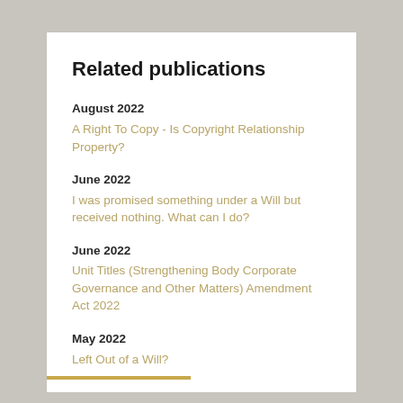Related publications
August 2022
A Right To Copy - Is Copyright Relationship Property?
June 2022
I was promised something under a Will but received nothing. What can I do?
June 2022
Unit Titles (Strengthening Body Corporate Governance and Other Matters) Amendment Act 2022
May 2022
Left Out of a Will?